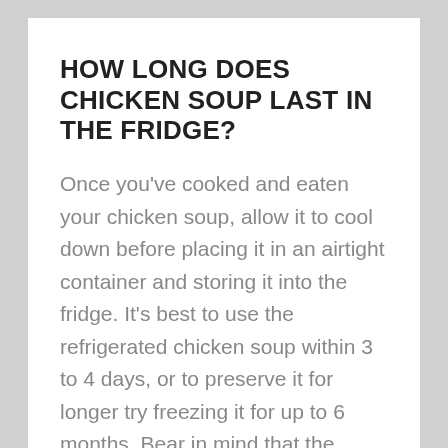HOW LONG DOES CHICKEN SOUP LAST IN THE FRIDGE?
Once you've cooked and eaten your chicken soup, allow it to cool down before placing it in an airtight container and storing it into the fridge. It's best to use the refrigerated chicken soup within 3 to 4 days, or to preserve it for longer try freezing it for up to 6 months. Bear in mind that the quality of chicken deteriorates quite rapidly, usually within the first couple of days